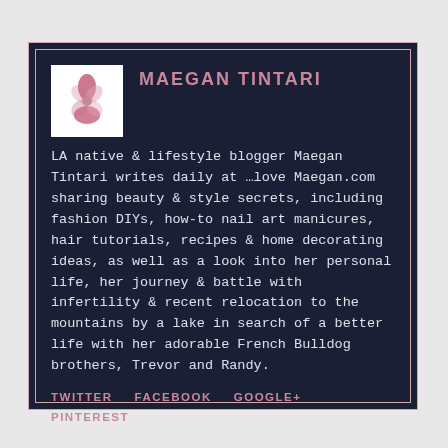MAEGAN TINTARI
LA native & lifestyle blogger Maegan Tintari writes daily at …love Maegan.com sharing beauty & style secrets, including fashion DIYs, how-to nail art manicures, hair tutorials, recipes & home decorating ideas, as well as a look into her personal life, her journey & battle with infertility & recent relocation to the mountains by a lake in search of a better life with her adorable French Bulldog brothers, Trevor and Randy.
TWITTER
FACEBOOK
GOOGLE+
PINTEREST